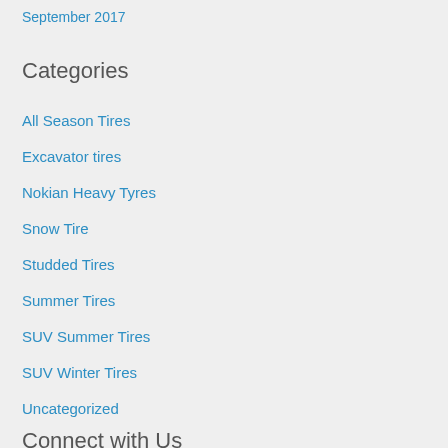September 2017
Categories
All Season Tires
Excavator tires
Nokian Heavy Tyres
Snow Tire
Studded Tires
Summer Tires
SUV Summer Tires
SUV Winter Tires
Uncategorized
Connect with Us